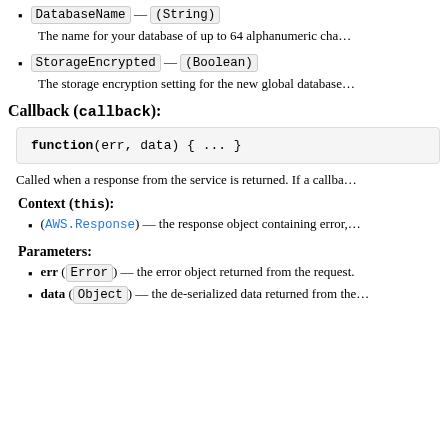DatabaseName — (String)
The name for your database of up to 64 alphanumeric cha…
StorageEncrypted — (Boolean)
The storage encryption setting for the new global database…
Callback (callback):
Called when a response from the service is returned. If a callba…
Context (this):
(AWS.Response) — the response object containing error,…
Parameters:
err (Error) — the error object returned from the request.
data (Object) — the de-serialized data returned from the…